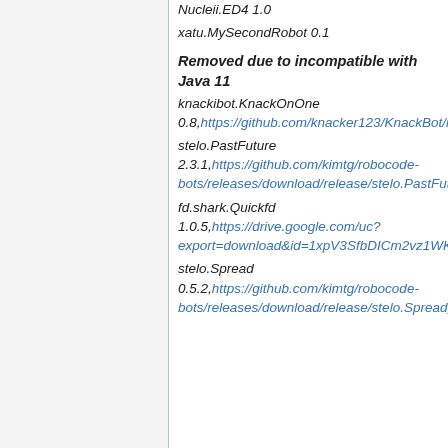Nucleii.ED4 1.0
xatu.MySecondRobot 0.1
Removed due to incompatible with Java 11
knackibot.KnackOnOne 0.8, https://github.com/knacker123/KnackBot/releases/download/v.0.8/knackibot.KnackOnOne_0.8.jar
stelo.PastFuture 2.3.1, https://github.com/kimtg/robocode-bots/releases/download/release/stelo.PastFuture_2.3.1.jar
fd.shark.Quickfd 1.0.5, https://drive.google.com/uc?export=download&id=1xpV3SfbDICm2vz1WKCsP0OInPytNAzjE
stelo.Spread 0.5.2, https://github.com/kimtg/robocode-bots/releases/download/release/stelo.Spread_0.5.2.jar